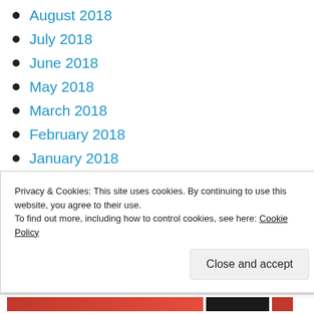August 2018
July 2018
June 2018
May 2018
March 2018
February 2018
January 2018
SEARCH..
Privacy & Cookies: This site uses cookies. By continuing to use this website, you agree to their use. To find out more, including how to control cookies, see here: Cookie Policy